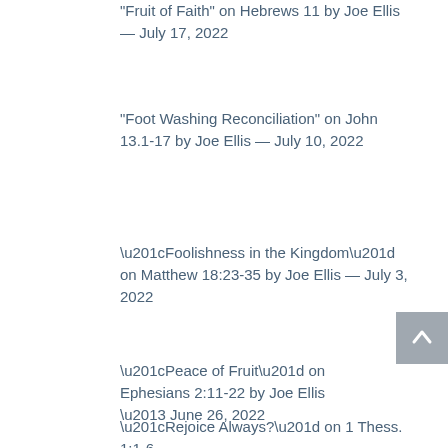"Fruit of Faith" on Hebrews 11 by Joe Ellis — July 17, 2022
"Foot Washing Reconciliation" on John 13.1-17 by Joe Ellis — July 10, 2022
“Foolishness in the Kingdom” on Matthew 18:23-35 by Joe Ellis — July 3, 2022
“Peace of Fruit” on Ephesians 2:11-22 by Joe Ellis – June 26, 2022
“Rejoice Always?” on 1 Thess. 1:1-6…